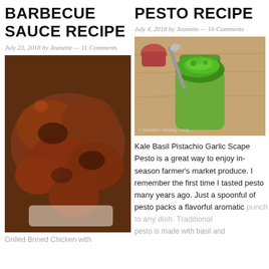BARBECUE SAUCE RECIPE
July 23, 2018 by Jeanette — 11 Comments
[Figure (photo): Grilled barbecue chicken pieces on a white plate, glazed with dark BBQ sauce]
Grilled Brined Chicken with
PESTO RECIPE
July 4, 2018 by Jeanette — 16 Comments
[Figure (photo): A jar of bright green kale basil pistachio garlic scape pesto with a spoon on a wooden background. Watermark reads Jeanette's Healthy Living]
Kale Basil Pistachio Garlic Scape Pesto is a great way to enjoy in-season farmer's market produce. I remember the first time I tasted pesto many years ago. Just a spoonful of pesto packs a flavorful aromatic punch to any dish. Traditional pesto is made with basil and
pesto is made with basil and